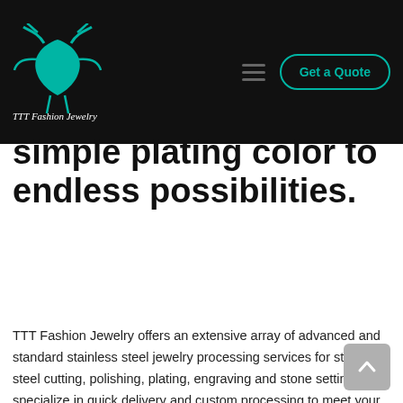TTT Fashion Jewelry — Get a Quote
simple plating color to endless possibilities.
TTT Fashion Jewelry offers an extensive array of advanced and standard stainless steel jewelry processing services for stainless steel cutting, polishing, plating, engraving and stone setting. We specialize in quick delivery and custom processing to meet your most challenging stainless steel jewelry needs.